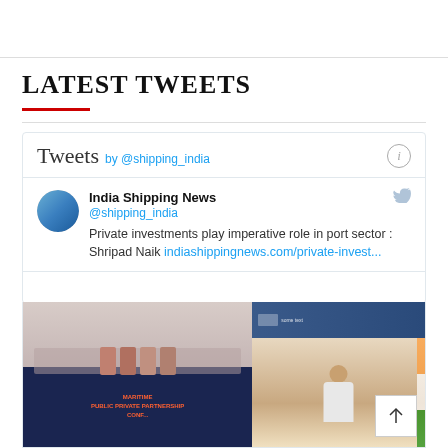LATEST TWEETS
[Figure (screenshot): Twitter widget showing tweets by @shipping_india. Contains a tweet from India Shipping News (@shipping_india): 'Private investments play imperative role in port sector : Shripad Naik indiashippingnews.com/private-invest...' with a photo of a Maritime Public Private Partnership Conference event and a person speaking via video call.]